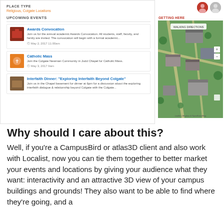PLACE TYPE
Religious, Colgate Locations
UPCOMING EVENTS
Awards Convocation
Join us for the annual academic Awards Convocation. All students, staff, faculty, and family are invited. The convocation will begin with a formal academic...
May 2, 2017 11:00am
Catholic Mass
Join the Colgate Newman Community in Judd Chapel for Catholic Mass.
May 3, 2017 9am
Interfaith Dinner: "Exploring Interfaith Beyond Colgate"
Join us in the Chapel basement for dinner at 6pm for a discussion about the exploring interfaith dialogue & relationship beyond Colgate with the Colgate...
[Figure (screenshot): 3D aerial map view of Colgate University campus buildings with green surroundings, labeled GETTING HERE with walking directions button]
Why should I care about this?
Well, if you’re a CampusBird or atlas3D client and also work with Localist, now you can tie them together to better market your events and locations by giving your audience what they want: interactivity and an attractive 3D view of your campus buildings and grounds! They also want to be able to find where they’re going, and a